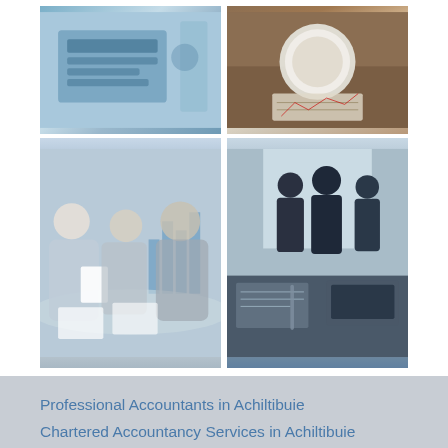[Figure (photo): Top-left: Close-up of office equipment, calculator or phone, blue tones]
[Figure (photo): Top-right: Coffee cup on wooden table with financial charts/documents]
[Figure (photo): Bottom-left: Business meeting with multiple people reviewing documents, bar charts visible in background]
[Figure (photo): Bottom-right: Silhouettes of three business people standing, with documents/laptop on foreground table]
Professional Accountants in Achiltibuie
Chartered Accountancy Services in Achiltibuie
Specialist Forensic Accountants in Achiltibuie
Specialist Online Accountants in Achiltibuie
Specialist Qualified Accountants in Achiltibuie
Services
Tax Returns Services in Achiltibuie
Accounts Audit Specialists in Achiltibuie